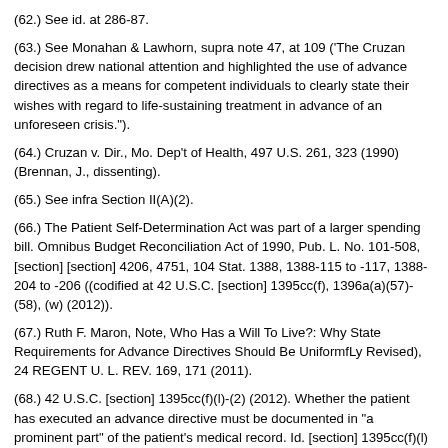(62.) See id. at 286-87.
(63.) See Monahan & Lawhorn, supra note 47, at 109 ('The Cruzan decision drew national attention and highlighted the use of advance directives as a means for competent individuals to clearly state their wishes with regard to life-sustaining treatment in advance of an unforeseen crisis.").
(64.) Cruzan v. Dir., Mo. Dep't of Health, 497 U.S. 261, 323 (1990) (Brennan, J., dissenting).
(65.) See infra Section II(A)(2).
(66.) The Patient Self-Determination Act was part of a larger spending bill. Omnibus Budget Reconciliation Act of 1990, Pub. L. No. 101-508, [section] [section] 4206, 4751, 104 Stat. 1388, 1388-115 to -117, 1388-204 to -206 ((codified at 42 U.S.C. [section] 1395cc(f), 1396a(a)(57)-(58), (w) (2012)).
(67.) Ruth F. Maron, Note, Who Has a Will To Live?: Why State Requirements for Advance Directives Should Be UniformfLy Revised), 24 REGENT U. L. REV. 169, 171 (2011).
(68.) 42 U.S.C. [section] 1395cc(f)(l)-(2) (2012). Whether the patient has executed an advance directive must be documented in "a prominent part" of the patient's medical record. Id. [section] 1395cc(f)(l)(B).
(69.) Id. [section] 1395cc(f)(A).
(70.) Id. [section] 1395cc(f)(l)(C).